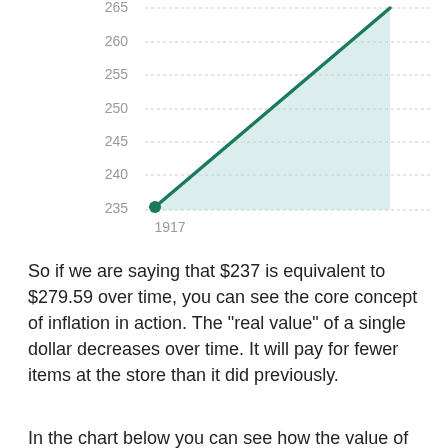[Figure (continuous-plot): Line chart showing value rising steeply from approximately 235 in 1917 to approximately 265+ at a later date. The area under the line is shaded in light teal/green. Y-axis shows values from 235 to 265+ in increments of 5. X-axis shows 1917 label.]
So if we are saying that $237 is equivalent to $279.59 over time, you can see the core concept of inflation in action. The "real value" of a single dollar decreases over time. It will pay for fewer items at the store than it did previously.
In the chart below you can see how the value of